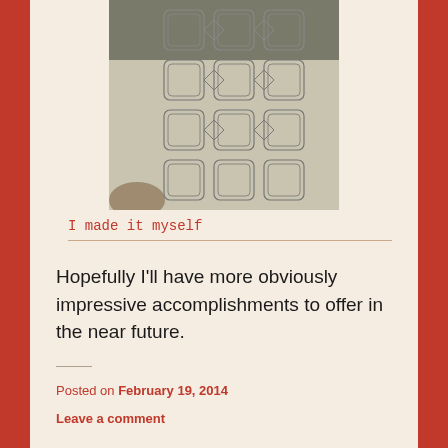[Figure (photo): Photograph of a hand-drawn geometric pattern on paper, showing interlocking octagonal and diamond shapes in pencil lines on a light background.]
I made it myself
Hopefully I'll have more obviously impressive accomplishments to offer in the near future.
Posted on February 19, 2014
Leave a comment
[Figure (logo): WordPress logo (circle W icon)]